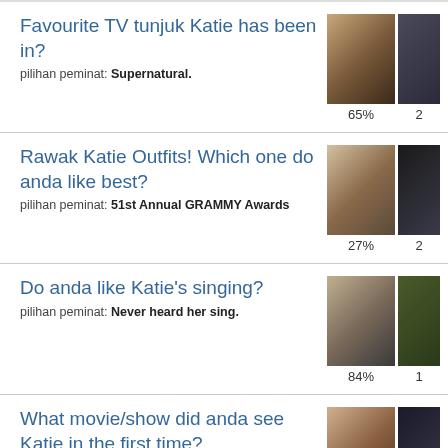Favourite TV tunjuk Katie has been in?
pilihan peminat: Supernatural.
[Figure (photo): Two thumbnails showing Katie Cassidy. Left: close-up portrait in dark lighting, 65%. Right: partial dark image, 25%.]
Rawak Katie Outfits! Which one do anda like best?
pilihan peminat: 51st Annual GRAMMY Awards
[Figure (photo): Two thumbnails showing Katie Cassidy outfits. Left: white dress at GRAMMY Awards, 27%. Right: partial dark outfit image, 2x%.]
Do anda like Katie's singing?
pilihan peminat: Never heard her sing.
[Figure (photo): Two thumbnails. Left: Katie in black with pink, 84%. Right: partial dark image, 10%.]
What movie/show did anda see Katie in the first time?
pilihan peminat: Supernatural
[Figure (photo): Two thumbnails. Left: Katie facial close-up, 54%. Right: partial dark image, 14%.]
Would anda like to see Katie play the villain?